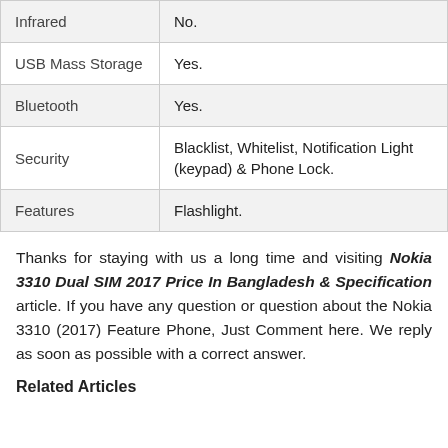| Feature | Value |
| --- | --- |
| Infrared | No. |
| USB Mass Storage | Yes. |
| Bluetooth | Yes. |
| Security | Blacklist, Whitelist, Notification Light (keypad) & Phone Lock. |
| Features | Flashlight. |
Thanks for staying with us a long time and visiting Nokia 3310 Dual SIM 2017 Price In Bangladesh & Specification article. If you have any question or question about the Nokia 3310 (2017) Feature Phone, Just Comment here. We reply as soon as possible with a correct answer.
Related Articles